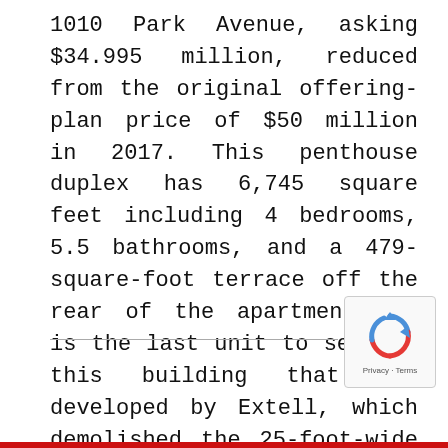1010 Park Avenue, asking $34.995 million, reduced from the original offering-plan price of $50 million in 2017. This penthouse duplex has 6,745 square feet including 4 bedrooms, 5.5 bathrooms, and a 479-square-foot terrace off the rear of the apartment. It is the last unit to sell in this building that was developed by Extell, which demolished the 25-foot-wide annex of the Park Avenue Christian Church to build an 11-unit, 15-story condo with a doorman, gym, and pool.
[Figure (logo): reCAPTCHA logo with Privacy and Terms text]